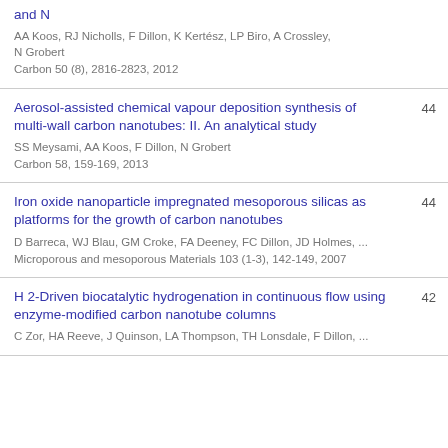and N
AA Koos, RJ Nicholls, F Dillon, K Kertész, LP Biro, A Crossley, N Grobert
Carbon 50 (8), 2816-2823, 2012
Aerosol-assisted chemical vapour deposition synthesis of multi-wall carbon nanotubes: II. An analytical study
SS Meysami, AA Koos, F Dillon, N Grobert
Carbon 58, 159-169, 2013
44
Iron oxide nanoparticle impregnated mesoporous silicas as platforms for the growth of carbon nanotubes
D Barreca, WJ Blau, GM Croke, FA Deeney, FC Dillon, JD Holmes, ...
Microporous and mesoporous Materials 103 (1-3), 142-149, 2007
44
H 2-Driven biocatalytic hydrogenation in continuous flow using enzyme-modified carbon nanotube columns
C Zor, HA Reeve, J Quinson, LA Thompson, TH Lonsdale, F Dillon, ...
42